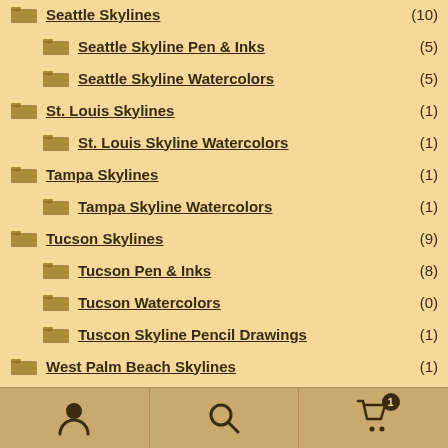Seattle Skylines (10)
Seattle Skyline Pen & Inks (5)
Seattle Skyline Watercolors (5)
St. Louis Skylines (1)
St. Louis Skyline Watercolors (1)
Tampa Skylines (1)
Tampa Skyline Watercolors (1)
Tucson Skylines (9)
Tucson Pen & Inks (8)
Tucson Watercolors (0)
Tuscon Skyline Pencil Drawings (1)
West Palm Beach Skylines (1)
Navigation bar with user, search, and cart (1 item) icons